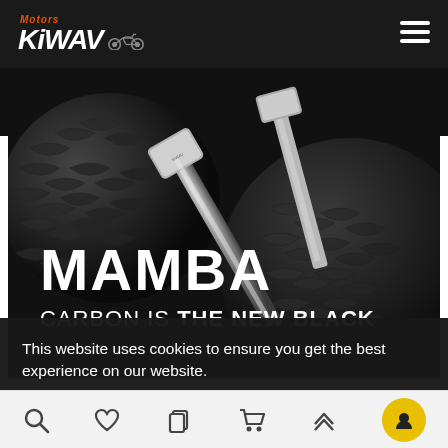KiWAV Motors - navigation header with logo and hamburger menu
[Figure (photo): Mamba product hero image showing dark metallic motorcycle mirrors/parts on snake-scale textured black background. Large white text reads 'MAMBA' and below it 'CARBON IS THE NEW BLACK']
This website uses cookies to ensure you get the best experience on our website.
Got it!
Bottom navigation bar with search, heart/wishlist, pages/copy, cart, up arrow, and chat icons